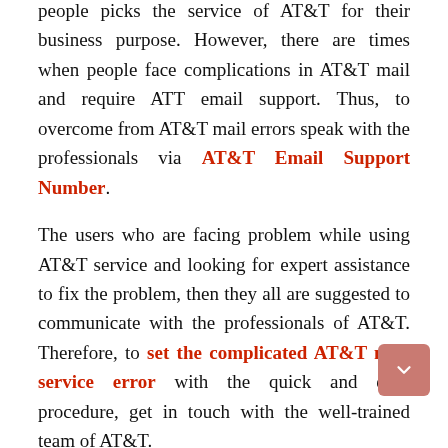people picks the service of AT&T for their business purpose. However, there are times when people face complications in AT&T mail and require ATT email support. Thus, to overcome from AT&T mail errors speak with the professionals via AT&T Email Support Number.
The users who are facing problem while using AT&T service and looking for expert assistance to fix the problem, then they all are suggested to communicate with the professionals of AT&T. Therefore, to set the complicated AT&T mail service error with the quick and easy procedure, get in touch with the well-trained team of AT&T.
Along with the best features and the services of AT&T, the user might confront some mailing issues too. So, the users don't have to panic, because the